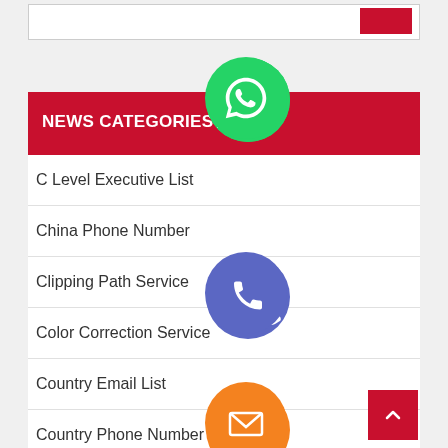NEWS CATEGORIES
C Level Executive List
China Phone Number
Clipping Path Service
Color Correction Service
Country Email List
Country Phone Number
Crop Resizing Service
[Figure (infographic): Floating social media contact icons: WhatsApp (green), Phone (blue/purple), Email (orange), LINE (green), Viber (purple), Close/X (green)]